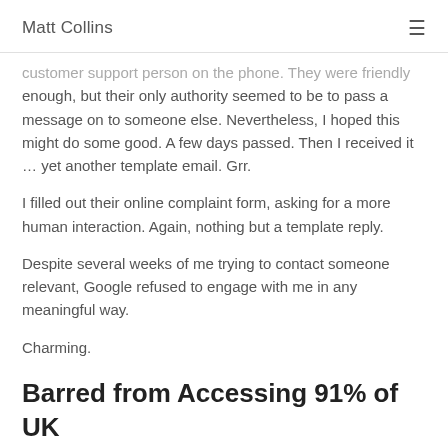Matt Collins
customer support person on the phone. They were friendly enough, but their only authority seemed to be to pass a message on to someone else. Nevertheless, I hoped this might do some good. A few days passed. Then I received it … yet another template email. Grr.
I filled out their online complaint form, asking for a more human interaction. Again, nothing but a template reply.
Despite several weeks of me trying to contact someone relevant, Google refused to engage with me in any meaningful way.
Charming.
Barred from Accessing 91% of UK